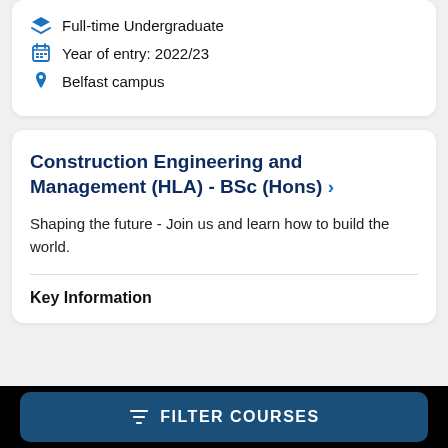Full-time Undergraduate
Year of entry: 2022/23
Belfast campus
Construction Engineering and Management (HLA) - BSc (Hons)
Shaping the future - Join us and learn how to build the world.
Key Information